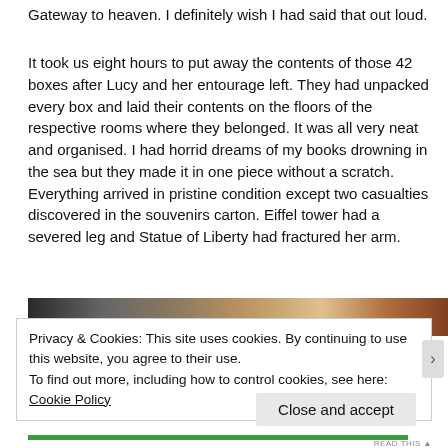Gateway to heaven. I definitely wish I had said that out loud.
It took us eight hours to put away the contents of those 42 boxes after Lucy and her entourage left. They had unpacked every box and laid their contents on the floors of the respective rooms where they belonged. It was all very neat and organised. I had horrid dreams of my books drowning in the sea but they made it in one piece without a scratch. Everything arrived in pristine condition except two casualties discovered in the souvenirs carton. Eiffel tower had a severed leg and Statue of Liberty had fractured her arm.
[Figure (photo): A partial photo strip visible behind the cookie banner, showing dark and warm-toned colors.]
Privacy & Cookies: This site uses cookies. By continuing to use this website, you agree to their use.
To find out more, including how to control cookies, see here: Cookie Policy
Close and accept